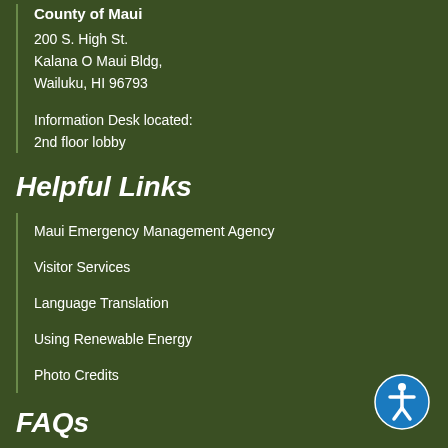County of Maui
200 S. High St.
Kalana O Maui Bldg,
Wailuku, HI 96793

Information Desk located:
2nd floor lobby
Helpful Links
Maui Emergency Management Agency
Visitor Services
Language Translation
Using Renewable Energy
Photo Credits
FAQs